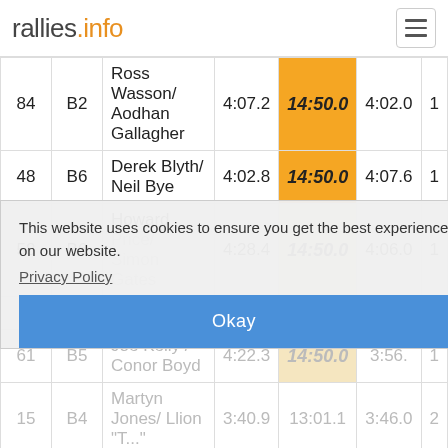rallies.info
| # | Cls | Crew | SS1 | SS2 | SS3 | Pos |
| --- | --- | --- | --- | --- | --- | --- |
| 84 | B2 | Ross Wasson/ Aodhan Gallagher | 4:07.2 | 14:50.0 | 4:02.0 | 1 |
| 48 | B6 | Derek Blyth/ Neil Bye | 4:02.8 | 14:50.0 | 4:07.6 | 1 |
| 58 | B6 | Howard Price/ Simon Gates | 4:28.4 | 14:50.0 | 4:06.0 | 1 |
|  |  | 5:33.4 | 4:02. | 1 |  |  |
| 61 | B5 | Joe Kelly / Conor Boyd | 4:22.3 | 14:50.0 | 3:56. | 1 |
| 15 | B4 | Martyn Jones/ Llion "T..." | 3:40.9 | 13:01.1 | 3:46.0 | 2 |
This website uses cookies to ensure you get the best experience on our website.
Privacy Policy
Okay